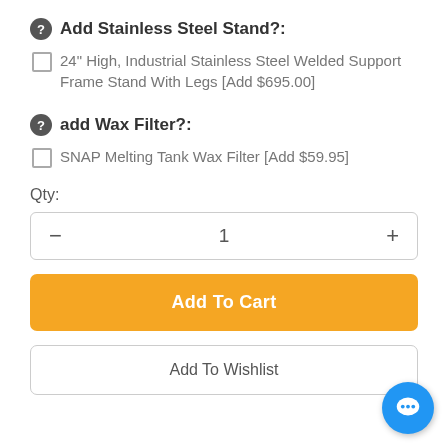Add Stainless Steel Stand?:
24" High, Industrial Stainless Steel Welded Support Frame Stand With Legs [Add $695.00]
add Wax Filter?:
SNAP Melting Tank Wax Filter [Add $59.95]
Qty:
- 1 +
Add To Cart
Add To Wishlist